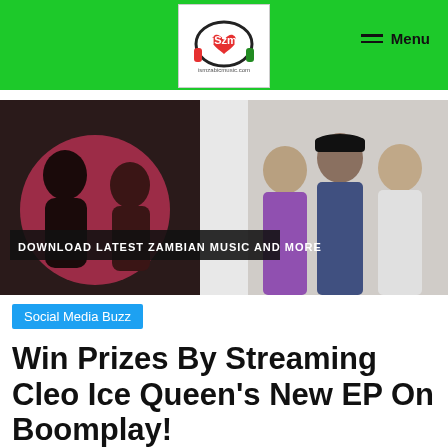iSzmy — Menu
[Figure (photo): Website banner showing Zambian music artists and the text 'DOWNLOAD LATEST ZAMBIAN MUSIC AND MORE']
Social Media Buzz
Win Prizes By Streaming Cleo Ice Queen's New EP On Boomplay!
Allan  May 27, 2022